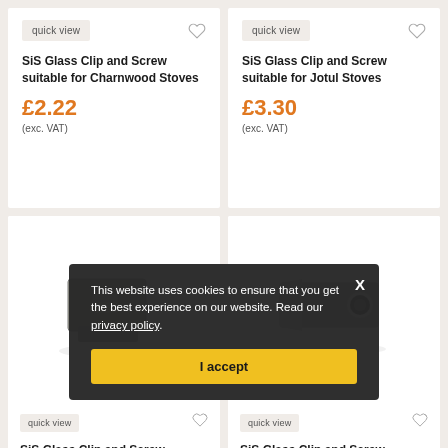[Figure (screenshot): E-commerce product listing page showing SiS Glass Clip and Screw products in a 2x2 grid with a cookie consent overlay]
quick view
SiS Glass Clip and Screw suitable for Charnwood Stoves
£2.22
(exc. VAT)
quick view
SiS Glass Clip and Screw suitable for Jotul Stoves
£3.30
(exc. VAT)
quick view
SiS Glass Clip and Screw
quick view
SiS Glass Clip and Screw
This website uses cookies to ensure that you get the best experience on our website. Read our privacy policy.
I accept